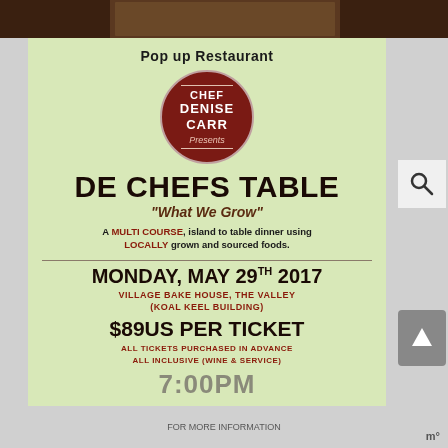[Figure (photo): Top photo strip showing food or people]
Pop up Restaurant
[Figure (logo): Circular dark red logo with text: CHEF DENISE CARR Presents]
DE CHEFS TABLE
"What We Grow"
A MULTI COURSE, island to table dinner using LOCALLY grown and sourced foods.
MONDAY, MAY 29TH 2017
VILLAGE BAKE HOUSE, THE VALLEY (KOAL KEEL BUILDING)
$89US PER TICKET
ALL TICKETS PURCHASED IN ADVANCE ALL INCLUSIVE (WINE & SERVICE)
7:00PM
FOR MORE INFORMATION